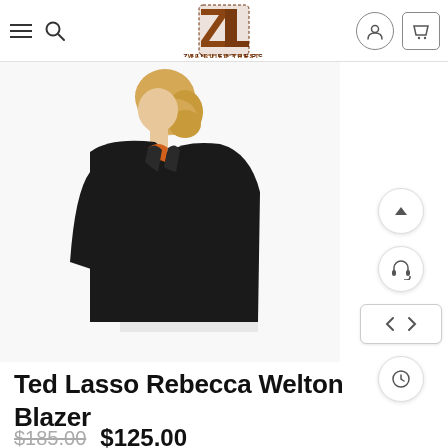Zain Leathers - We Build Trust
[Figure (photo): Woman wearing a black blazer with an orange top underneath, shown from the side, with blonde hair. Product photo for Ted Lasso Rebecca Welton Blazer.]
Ted Lasso Rebecca Welton Blazer
$185.00  $125.00